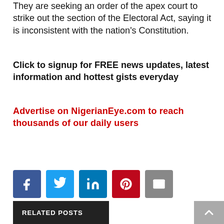They are seeking an order of the apex court to strike out the section of the Electoral Act, saying it is inconsistent with the nation's Constitution.
Click to signup for FREE news updates, latest information and hottest gists everyday
Advertise on NigerianEye.com to reach thousands of our daily users
[Figure (infographic): Row of five social media share buttons: Facebook (blue), Twitter (light blue), LinkedIn (dark blue), Pinterest (red), Email (grey)]
RELATED POSTS